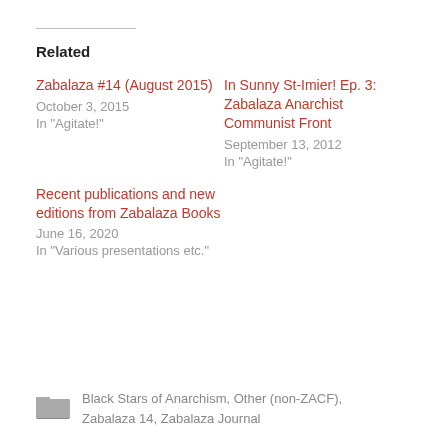Related
Zabalaza #14 (August 2015)
October 3, 2015
In "Agitate!"
In Sunny St-Imier! Ep. 3: Zabalaza Anarchist Communist Front
September 13, 2012
In "Agitate!"
Recent publications and new editions from Zabalaza Books
June 16, 2020
In "Various presentations etc."
Black Stars of Anarchism, Other (non-ZACF), Zabalaza 14, Zabalaza Journal